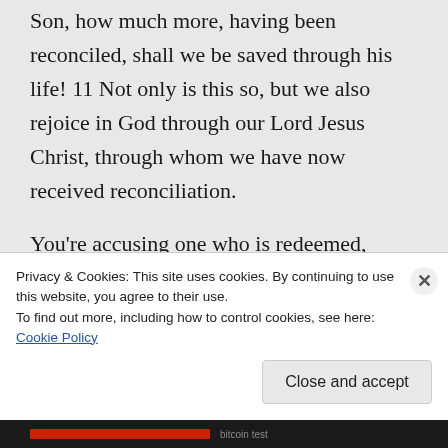Son, how much more, having been reconciled, shall we be saved through his life! 11 Not only is this so, but we also rejoice in God through our Lord Jesus Christ, through whom we have now received reconciliation.
You're accusing one who is redeemed, washed in the Blood of the Lamb, whose sins have been cast as far as the east is from the west. I think in one of your other comments you do mention something
Privacy & Cookies: This site uses cookies. By continuing to use this website, you agree to their use.
To find out more, including how to control cookies, see here: Cookie Policy
Close and accept